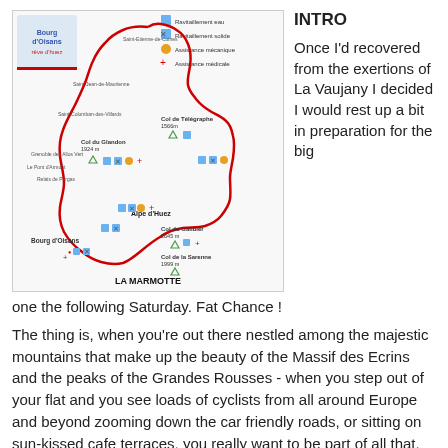[Figure (map): Route map of La Marmotte cycling event showing a red route through the French Alps, with markers for Col du Glandon, Col du Télégraphe, Col du Galibier, Col de la Sarenne, Alpe d'Huez, Bourg d'Oisans, and other locations. Legend shows icons for ravitaillement eau, ravitaillement solide, assistance mécanique, and assistance médicale. Label 'LA MARMOTTE' at bottom.]
INTRO
Once I'd recovered from the exertions of La Vaujany I decided I would rest up a bit in preparation for the big one the following Saturday. Fat Chance !
The thing is, when you're out there nestled among the majestic mountains that make up the beauty of the Massif des Ecrins and the peaks of the Grandes Rousses - when you step out of your flat and you see loads of cyclists from all around Europe and beyond zooming down the car friendly roads, or sitting on sun-kissed cafe terraces, you really want to be part of all that. There's a real urge to explore as much